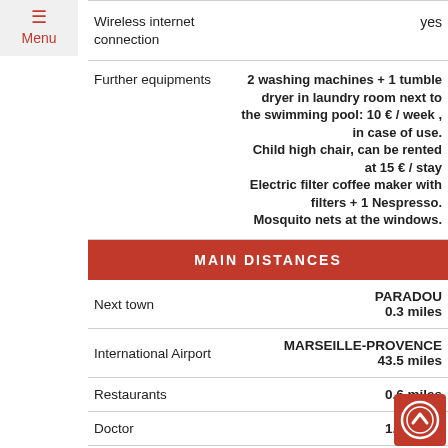Menu
|  |  |
| --- | --- |
| Wireless internet connection | yes |
| Further equipments | 2 washing machines + 1 tumble dryer in laundry room next to the swimming pool: 10 € / week , in case of use. Child high chair, can be rented at 15 € / stay Electric filter coffee maker with filters + 1 Nespresso. Mosquito nets at the windows. |
MAIN DISTANCES
|  |  |
| --- | --- |
| Next town | PARADOU
0.3 miles |
| International Airport | MARSEILLE-PROVENCE
43.5 miles |
| Restaurants | 0.6 miles |
| Doctor | 1.6 miles |
| Sea side/Beach | 31.1 miles |
| Biking | 0.0 miles |
| Tennis court | 0.1 miles |